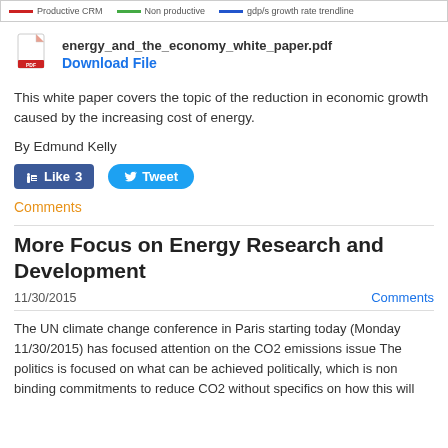[Figure (other): Top bar with chart legend showing Productive CRM (red), Non-productive (green), GDP growth rate trendline (blue)]
energy_and_the_economy_white_paper.pdf
Download File
This white paper covers the topic of the reduction in economic growth caused by the increasing cost of energy.
By Edmund Kelly
[Figure (other): Facebook Like button with count 3 and Twitter Tweet button]
Comments
More Focus on Energy Research and Development
11/30/2015
Comments
The UN climate change conference in Paris starting today (Monday 11/30/2015) has focused attention on the CO2 emissions issue The politics is focused on what can be achieved politically, which is non binding commitments to reduce CO2 without specifics on how this will